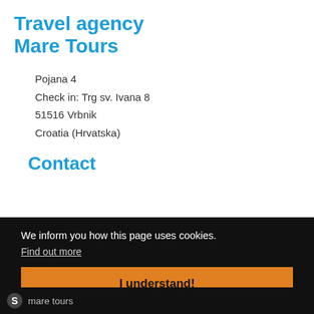Travel agency Mare Tours
Pojana 4
Check in: Trg sv. Ivana 8
51516 Vrbnik
Croatia (Hrvatska)
Contact
We inform you how this page uses cookies.
Find out more
I understand!
mare tours